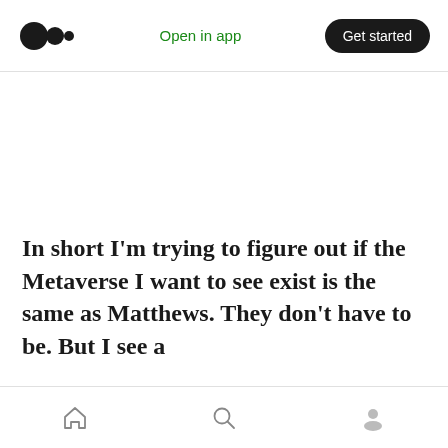Medium logo | Open in app | Get started
In short I'm trying to figure out if the Metaverse I want to see exist is the same as Matthews. They don't have to be. But I see a
Home | Search | Profile